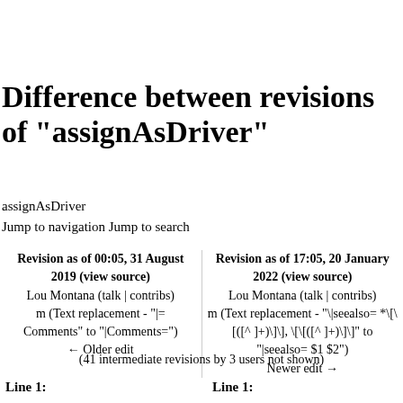Difference between revisions of "assignAsDriver"
assignAsDriver
Jump to navigation Jump to search
| Revision as of 00:05, 31 August 2019 (view source) | Revision as of 17:05, 20 January 2022 (view source) |
| --- | --- |
| Lou Montana (talk | contribs) | Lou Montana (talk | contribs) |
| m (Text replacement - "|= Comments" to "|Comments=") | m (Text replacement - "\|seealso= *\[\[([^ ]+)\]\], \[\[([^ ]+)\]\]" to "|seealso= $1 $2") |
| ← Older edit | Newer edit → |
(41 intermediate revisions by 3 users not shown)
Line 1:
Line 1: